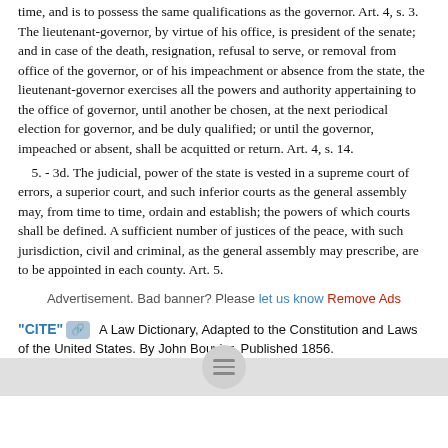time, and is to possess the same qualifications as the governor. Art. 4, s. 3. The lieutenant-governor, by virtue of his office, is president of the senate; and in case of the death, resignation, refusal to serve, or removal from office of the governor, or of his impeachment or absence from the state, the lieutenant-governor exercises all the powers and authority appertaining to the office of governor, until another be chosen, at the next periodical election for governor, and be duly qualified; or until the governor, impeached or absent, shall be acquitted or return. Art. 4, s. 14.
    5. - 3d. The judicial, power of the state is vested in a supreme court of errors, a superior court, and such inferior courts as the general assembly may, from time to time, ordain and establish; the powers of which courts shall be defined. A sufficient number of justices of the peace, with such jurisdiction, civil and criminal, as the general assembly may prescribe, are to be appointed in each county. Art. 5.
Advertisement. Bad banner? Please let us know Remove Ads
"CITE" [link icon] A Law Dictionary, Adapted to the Constitution and Laws of the United States. By John Bouvier. Published 1856.